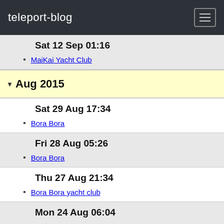teleport-blog
Sat 12 Sep 01:16
MaiKai Yacht Club
Aug 2015
Sat 29 Aug 17:34
Bora Bora
Fri 28 Aug 05:26
Bora Bora
Thu 27 Aug 21:34
Bora Bora yacht club
Mon 24 Aug 06:04
Bora Bora
Sat 22 Aug 21:44
Tahaa
Tue 18 Aug 21:54
Huahini